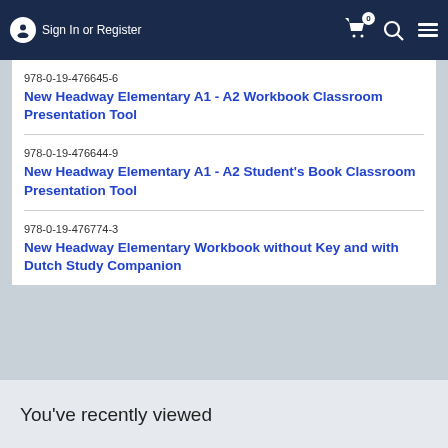Sign In or Register
978-0-19-476645-6
New Headway Elementary A1 - A2 Workbook Classroom Presentation Tool
978-0-19-476644-9
New Headway Elementary A1 - A2 Student's Book Classroom Presentation Tool
978-0-19-476774-3
New Headway Elementary Workbook without Key and with Dutch Study Companion
You've recently viewed